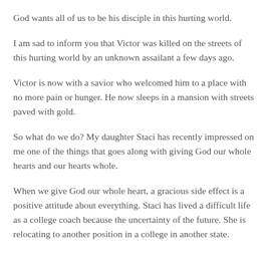God wants all of us to be his disciple in this hurting world.
I am sad to inform you that Victor was killed on the streets of this hurting world by an unknown assailant a few days ago.
Victor is now with a savior who welcomed him to a place with no more pain or hunger. He now sleeps in a mansion with streets paved with gold.
So what do we do? My daughter Staci has recently impressed on me one of the things that goes along with giving God our whole hearts and our hearts whole.
When we give God our whole heart, a gracious side effect is a positive attitude about everything. Staci has lived a difficult life as a college coach because the uncertainty of the future. She is relocating to another position in a college in another state.